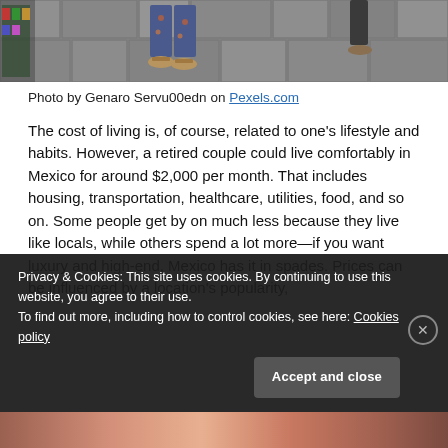[Figure (photo): Street scene showing lower half of people walking on stone cobblestone pavement, a woman in patterned pants and sandals visible.]
Photo by Genaro Servu00edn on Pexels.com
The cost of living is, of course, related to one's lifestyle and habits. However, a retired couple could live comfortably in Mexico for around $2,000 per month. That includes housing, transportation, healthcare, utilities, food, and so on. Some people get by on much less because they live like locals, while others spend a lot more—if you want luxury and high-end, Mexico has it in spades. Prices can be influenced by a location's popularity,
Privacy & Cookies: This site uses cookies. By continuing to use this website, you agree to their use.
To find out more, including how to control cookies, see here: Cookies policy
Accept and close